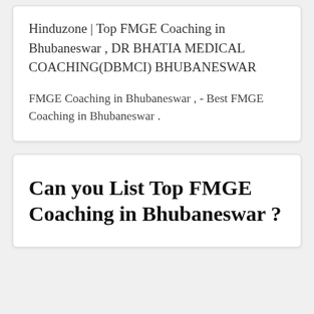Hinduzone | Top FMGE Coaching in Bhubaneswar , DR BHATIA MEDICAL COACHING(DBMCI) BHUBANESWAR
FMGE Coaching in Bhubaneswar , - Best FMGE Coaching in Bhubaneswar .
Can you List Top FMGE Coaching in Bhubaneswar ?